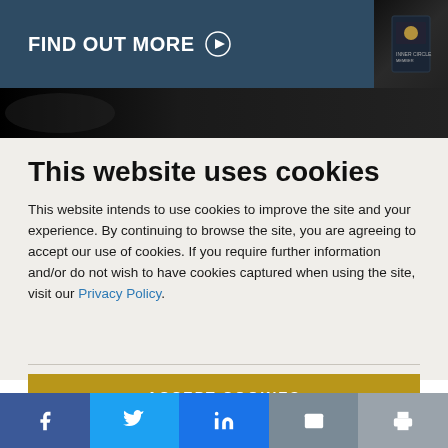[Figure (screenshot): Dark teal banner with 'FIND OUT MORE' text with play button icon and a book thumbnail on the right]
[Figure (photo): Dark background image strip (car interior or dark abstract)]
This website uses cookies
This website intends to use cookies to improve the site and your experience. By continuing to browse the site, you are agreeing to accept our use of cookies. If you require further information and/or do not wish to have cookies captured when using the site, visit our Privacy Policy.
[Figure (infographic): Gold/yellow 'ACCEPT COOKIES' button]
[Figure (infographic): Social share bar with Facebook, Twitter, LinkedIn, Email, and Print icons]